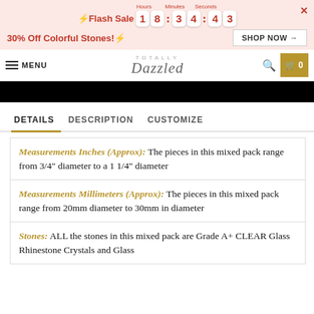Flash Sale 18:34:43 — 30% Off Colorful Stones! SHOP NOW
MENU — Totally Dazzled — Search — Cart 0
[Figure (photo): Black image strip / product hero image (cropped)]
DETAILS   DESCRIPTION   CUSTOMIZE
Measurements Inches (Approx): The pieces in this mixed pack range from 3/4" diameter to a 1 1/4" diameter
Measurements Millimeters (Approx): The pieces in this mixed pack range from 20mm diameter to 30mm in diameter
Stones: ALL the stones in this mixed pack are Grade A+ CLEAR Glass Rhinestone Crystals and Glass